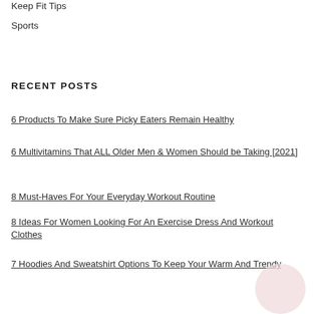Keep Fit Tips
Sports
RECENT POSTS
6 Products To Make Sure Picky Eaters Remain Healthy
6 Multivitamins That ALL Older Men & Women Should be Taking [2021]
8 Must-Haves For Your Everyday Workout Routine
8 Ideas For Women Looking For An Exercise Dress And Workout Clothes
7 Hoodies And Sweatshirt Options To Keep Your Warm And Trendy